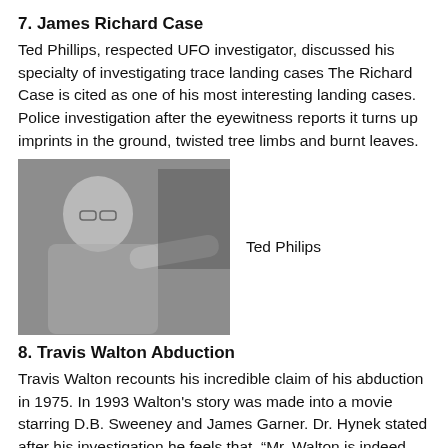7. James Richard Case
Ted Phillips, respected UFO investigator, discussed his specialty of investigating trace landing cases The Richard Case is cited as one of his most interesting landing cases. Police investigation after the eyewitness reports it turns up imprints in the ground, twisted tree limbs and burnt leaves.
[Figure (photo): Black and white photo of Ted Phillips, an older man with white hair and glasses, reaching out with his arm in a pointing gesture.]
Ted Philips
8. Travis Walton Abduction
Travis Walton recounts his incredible claim of his abduction in 1975. In 1993 Walton's story was made into a movie starring D.B. Sweeney and James Garner. Dr. Hynek stated after his investigation he feels that, "Mr. Walton is indeed telling the truth."
[Figure (photo): Partial black and white photo at bottom of page, cropped, showing a person's face.]